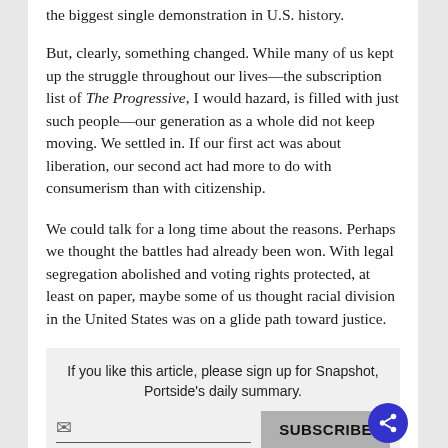the biggest single demonstration in U.S. history.
But, clearly, something changed. While many of us kept up the struggle throughout our lives—the subscription list of The Progressive, I would hazard, is filled with just such people—our generation as a whole did not keep moving. We settled in. If our first act was about liberation, our second act had more to do with consumerism than with citizenship.
We could talk for a long time about the reasons. Perhaps we thought the battles had already been won. With legal segregation abolished and voting rights protected, at least on paper, maybe some of us thought racial division in the United States was on a glide path toward justice.
If you like this article, please sign up for Snapshot, Portside's daily summary.
(One summary e-mail a day, you can change anytime,